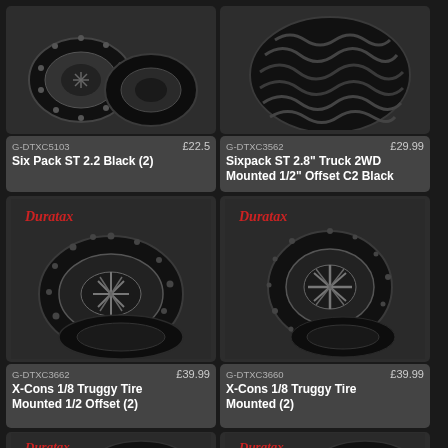[Figure (photo): RC truck tires/wheels product photo - Six Pack ST 2.2 Black tires with studs, top view]
[Figure (photo): RC truck tire product photo - Sixpack ST 2.8 Truck tire, close-up of tread pattern]
G-DTXC5103   £22.5
Six Pack ST 2.2 Black (2)
G-DTXC3562   £29.99
Sixpack ST 2.8" Truck 2WD Mounted 1/2" Offset C2 Black
[Figure (photo): Duratax branded RC wheels/tires product photo - Six Pack ST 2.2 Black mounted tires, pair shown]
[Figure (photo): Duratax branded RC wheels/tires product photo - Six Pack ST mounted tires, pair shown from side]
G-DTXC3662   £39.99
X-Cons 1/8 Truggy Tire Mounted 1/2 Offset (2)
G-DTXC3660   £39.99
X-Cons 1/8 Truggy Tire Mounted (2)
[Figure (photo): Duratax RC tire product photo - X-Cons 1/8 Truggy tires, partial view]
[Figure (photo): Duratax RC tire product photo - X-Cons 1/8 Truggy tires, partial view]